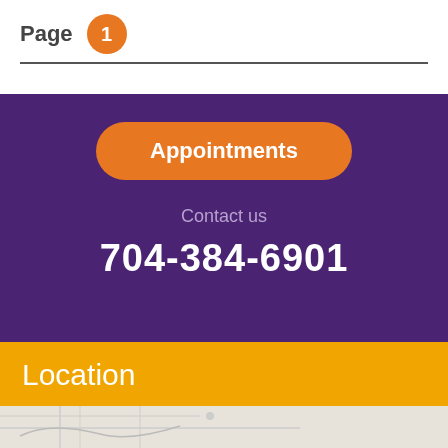Page 1
Appointments
Contact us
704-384-6901
Location
[Figure (map): Street map showing location near Harris Teeter]